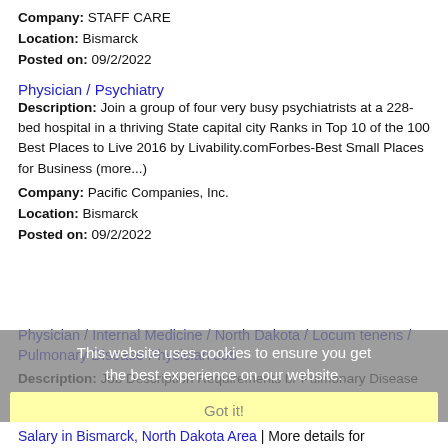Company: STAFF CARE
Location: Bismarck
Posted on: 09/2/2022
Physician / Psychiatry
Description: Join a group of four very busy psychiatrists at a 228-bed hospital in a thriving State capital city Ranks in Top 10 of the 100 Best Places to Live 2016 by Livability.comForbes-Best Small Places for Business (more...)
Company: Pacific Companies, Inc.
Location: Bismarck
Posted on: 09/2/2022
Physician / Internal Medicine / North Dakota / Locum tenens / Pulmonary Disease Physician Job
Description: Job Description Requirements br Pulmonary Disease Physician br StartDate: ASAP Available Shifts: Day 8 Pay Rate: 251.00 - 263.00 br br This facility is seeking aPulmonary Disease Physician (more...)
Company: STAFF CARE
Location: Bismarck
Posted on: 09/2/2022
This website uses cookies to ensure you get the best experience on our website.
Got it!
Salary in Bismarck, North Dakota Area | More details for